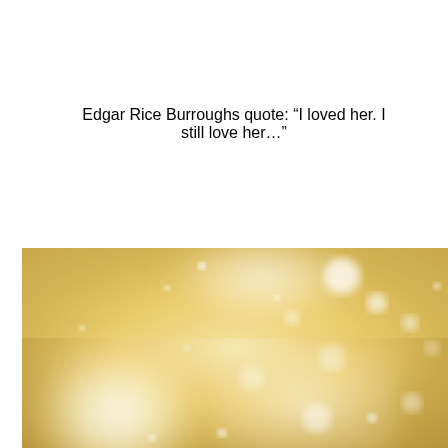Edgar Rice Burroughs quote: “I loved her. I still love her…”
[Figure (photo): Abstract golden bokeh background with soft blurred circles of light, warm gold and cream tones, a large white glow in the lower left, and scattered white bokeh dots throughout.]